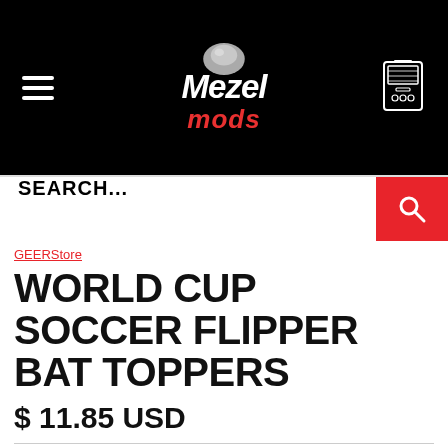[Figure (logo): Mezel Mods logo with grey pinball on dark header background, hamburger menu icon on left, arcade machine icon on right]
SEARCH...
GEERStore
WORLD CUP SOCCER FLIPPER BAT TOPPERS
$ 11.85 USD
Trick out your flippers with theÊWorld Cup Soccer Pinball FlipperÊbat toppers! The pinball flipper bat topper mods bring a unique finishing touch to your playfield. Made fromÊsturdy enhanced acrylic plastic pieces with heavy duty 3M tape on the